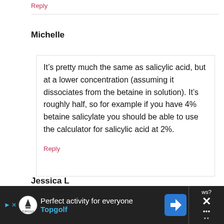Reply
Michelle
It’s pretty much the same as salicylic acid, but at a lower concentration (assuming it dissociates from the betaine in solution). It’s roughly half, so for example if you have 4% betaine salicylate you should be able to use the calculator for salicylic acid at 2%.
Reply
Jessica L
[Figure (other): Advertisement banner for Topgolf: 'Perfect activity for everyone' with Topgolf logo and navigation icon. Dark background with close controls on sides.]